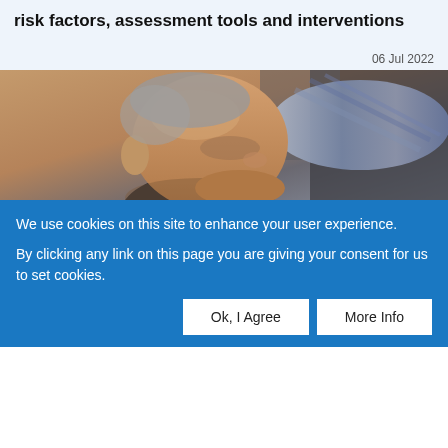risk factors, assessment tools and interventions
06 Jul 2022
[Figure (photo): Photograph of an elderly man reclining, viewed from a slightly low angle, with a blue and grey plaid pillow or headrest visible behind him.]
We use cookies on this site to enhance your user experience.
By clicking any link on this page you are giving your consent for us to set cookies.
Ok, I Agree
More Info